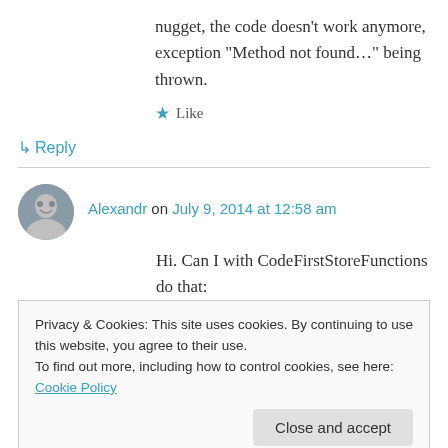nugget, the code doesn't work anymore, exception "Method not found…" being thrown.
★ Like
↳ Reply
Alexandr on July 9, 2014 at 12:58 am
Hi. Can I with CodeFirstStoreFunctions do that: 1. FUNCTION [dbo].[DateTimeToString] IN @value as DateTime return
Privacy & Cookies: This site uses cookies. By continuing to use this website, you agree to their use.
To find out more, including how to control cookies, see here: Cookie Policy
Close and accept
7))